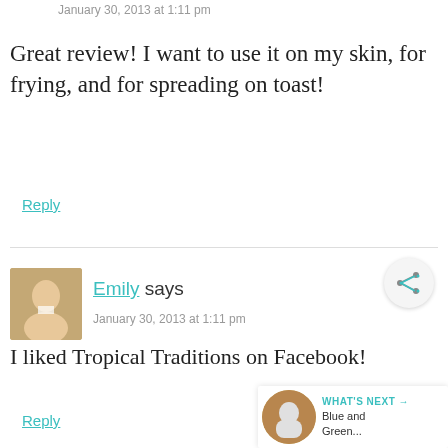January 30, 2013 at 1:11 pm
Great review! I want to use it on my skin, for frying, and for spreading on toast!
Reply
Emily says
January 30, 2013 at 1:11 pm
I liked Tropical Traditions on Facebook!
Reply